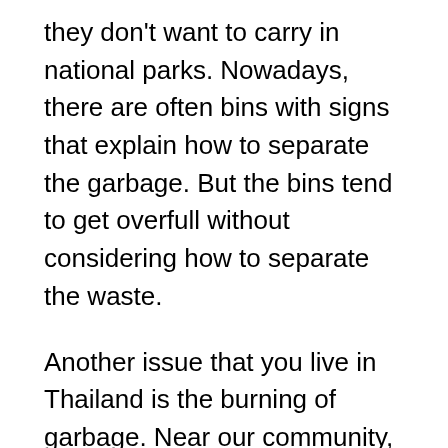they don't want to carry in national parks. Nowadays, there are often bins with signs that explain how to separate the garbage. But the bins tend to get overfull without considering how to separate the waste.
Another issue that you live in Thailand is the burning of garbage. Near our community, there has been a long discussion about getting the neighbouring local village to stop burning their trash. It is hard to get to the core of it all. But apparently, they see the burning as practical out of many aspects, and that's how they always did it. Some people don't want to pay extra for the bags and handling of the garbage, and some see it as practical to burn plastic because it keeps the